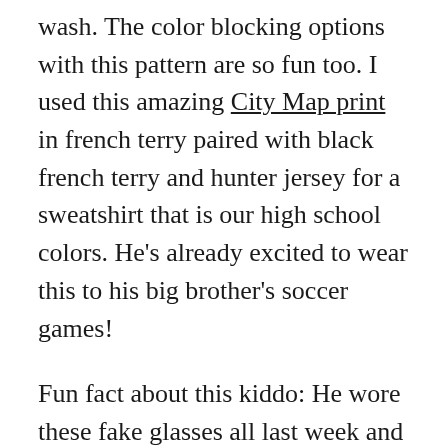wash.  The color blocking options with this pattern are so fun too.  I used this amazing City Map print in french terry paired with black french terry and hunter jersey for a sweatshirt that is our high school colors.  He's already excited to wear this to his big brother's soccer games!
Fun fact about this kiddo:  He wore these fake glasses all last week and convinced all his friends they were his reading glasses.  He made sure to include that he was getting contacts this weekend so he wasn't stuck wearing them forever!  Yes, we did have a little